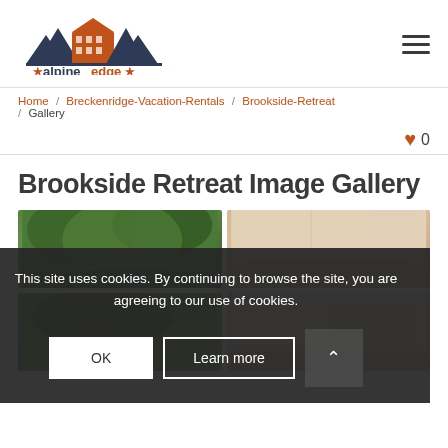alpineedge logo and navigation menu
Home / Breckenridge-Vacation-Rentals / Brookside-Retreat / Gallery
♥ 0
Brookside Retreat Image Gallery
[Figure (photo): Gallery grid of property photos with cookie consent overlay]
This site uses cookies. By continuing to browse the site, you are agreeing to our use of cookies.
OK    Learn more